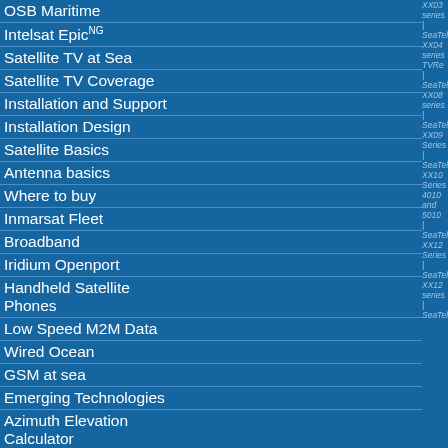OSB Maritime
Intelsat EpicNG
Satellite TV at Sea
Satellite TV Coverage
Installation and Support
Installation Design
Satellite Basics
Antenna basics
Where to buy
Inmarsat Fleet
Broadband
Iridium Openport
Handheld Satellite Phones
Low Speed M2M Data
Wired Ocean
GSM at sea
Emerging Technologies
Azimuth Elevation Calculator
Satellite Glossary
Site Map
Contact